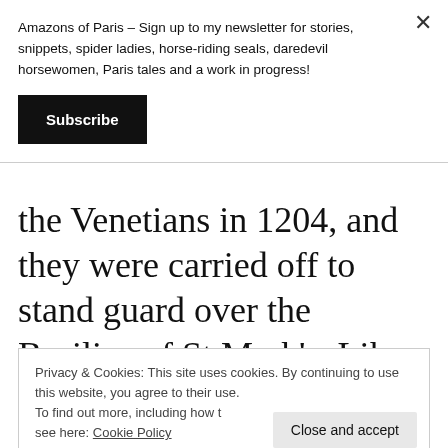Amazons of Paris – Sign up to my newsletter for stories, snippets, spider ladies, horse-riding seals, daredevil horsewomen, Paris tales and a work in progress!
Subscribe
the Venetians in 1204, and they were carried off to stand guard over the Basilica of St Mark's. Like many horses,
Privacy & Cookies: This site uses cookies. By continuing to use this website, you agree to their use.
To find out more, including how to control cookies, see here: Cookie Policy
Close and accept
triumphal arch, and only returned in